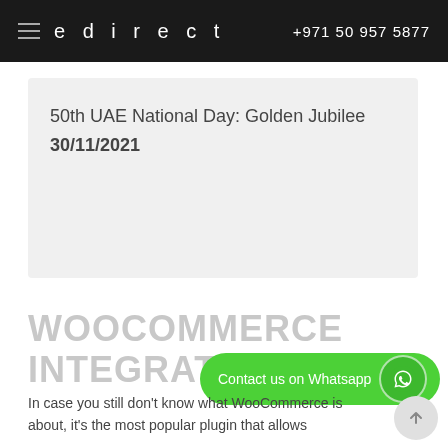edirect   +971 50 957 5877
50th UAE National Day: Golden Jubilee
30/11/2021
WOOCOMMERCE INTEGRATED
In case you still don't know what WooCommerce is about, it's the most popular plugin that allows
[Figure (other): Green WhatsApp contact button with WhatsApp icon and text 'Contact us on Whatsapp']
[Figure (other): Gray circular scroll-to-top button with upward arrow icon]